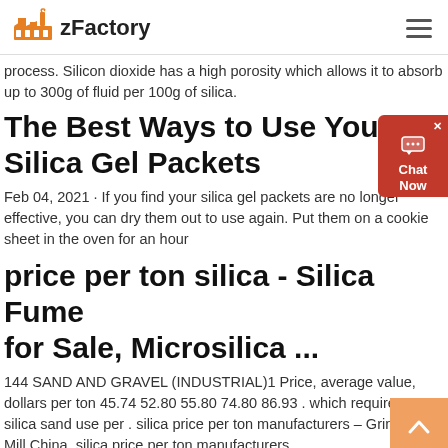zFactory
process. Silicon dioxide has a high porosity which allows it to absorb up to 300g of fluid per 100g of silica.
The Best Ways to Use Your Old Silica Gel Packets
Feb 04, 2021 · If you find your silica gel packets are no longer effective, you can dry them out to use again. Put them on a cookie sheet in the oven for an hour
price per ton silica - Silica Fume for Sale, Microsilica ...
144 SAND AND GRAVEL (INDUSTRIAL)1 Price, average value, dollars per ton 45.74 52.80 55.80 74.80 86.93 . which require more silica sand use per . silica price per ton manufacturers – Grinding Mill China. silica price per ton manufacturers